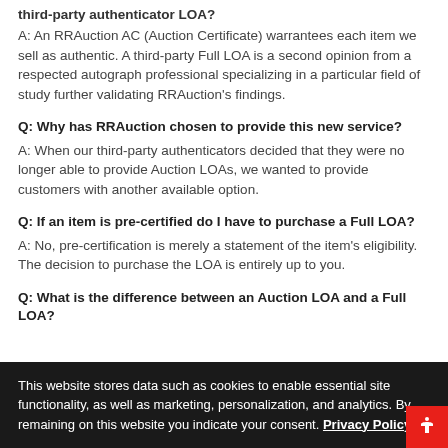third-party authenticator LOA?
A: An RRAuction AC (Auction Certificate) warrantees each item we sell as authentic. A third-party Full LOA is a second opinion from a respected autograph professional specializing in a particular field of study further validating RRAuction's findings.
Q: Why has RRAuction chosen to provide this new service?
A: When our third-party authenticators decided that they were no longer able to provide Auction LOAs, we wanted to provide customers with another available option.
Q: If an item is pre-certified do I have to purchase a Full LOA?
A: No, pre-certification is merely a statement of the item's eligibility. The decision to purchase the LOA is entirely up to you.
Q: What is the difference between an Auction LOA and a Full LOA?
This website stores data such as cookies to enable essential site functionality, as well as marketing, personalization, and analytics. By remaining on this website you indicate your consent. Privacy Policy